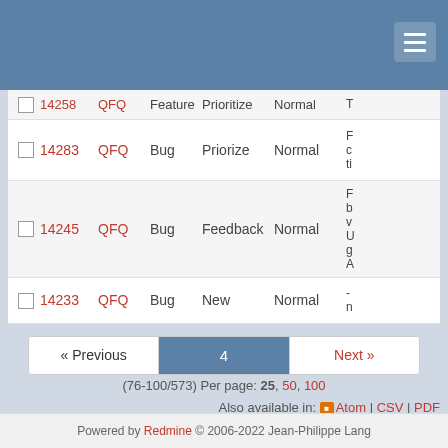Redmine issue tracker header
|  | # | Project | Tracker | Status | Priority | Subject |
| --- | --- | --- | --- | --- | --- | --- |
|  | 14258 | QFQ | Feature | Prioritize | Normal | T… |
|  | 14283 | QFQ | Bug | Priorize | Normal | F… c… ti… |
|  | 14245 | QFQ | Bug | Feedback | Normal | F… b… v… U… g… A… |
|  | 14233 | QFQ | Bug | New | Normal | - n… |
(76-100/573) Per page: 25, 50, 100
Also available in: Atom | CSV | PDF
Powered by Redmine © 2006-2022 Jean-Philippe Lang